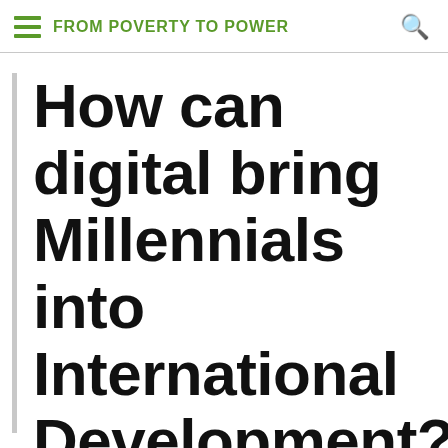FROM POVERTY TO POWER
How can digital bring Millennials into International Development? A ginger session